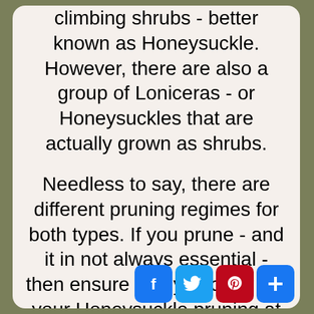climbing shrubs - better known as Honeysuckle. However, there are also a group of Loniceras - or Honeysuckles that are actually grown as shrubs.

Needless to say, there are different pruning regimes for both types. If you prune - and it in not always essential - then ensure that you carry out your Honeysuckle pruning at the right time of year.
[Figure (other): Social media share buttons: Facebook (blue), Twitter (blue), Pinterest (red), and a plus/add button (blue)]